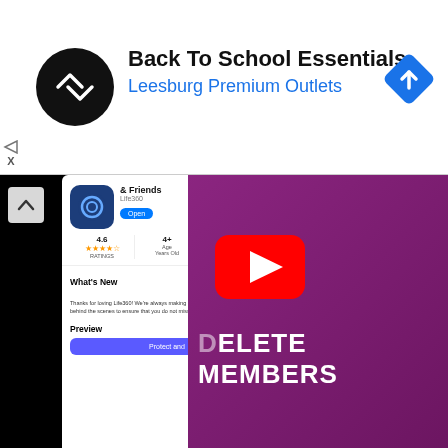[Figure (screenshot): Advertisement banner: Back To School Essentials at Leesburg Premium Outlets. Black circular logo on left, blue diamond navigation icon on right.]
[Figure (screenshot): Video thumbnail showing Life360 app store page on left (rating 4.6, 4+, #5) and a YouTube play button overlay on a purple background with text 'DELETE MEMBERS' on the right side.]
How to remove someone from your Life360 circle
Circle Switcher: Select the Circle you want to alter by tapping on it in the top-right corner of the screen.